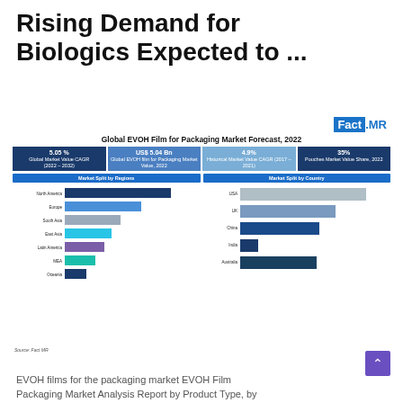Rising Demand for Biologics Expected to ...
[Figure (infographic): Fact.MR logo with blue background on 'Fact' and blue text on '.MR']
[Figure (grouped-bar-chart): Infographic with 4 KPI boxes and two horizontal bar charts: Market Split by Regions and Market Split by Country. KPIs: 5.05% Global Market Value CAGR (2022-2032), US$ 5.04 Bn Global EVOH film for Packaging Market Value 2022, 4.9% Historical Market Value CAGR (2017-2021), 35% Pouches Market Value Share 2022. Region bars: North America (largest, dark blue), Europe (light blue), South Asia (gray), East Asia (cyan), Latin America (purple), MEA (teal), Oceania (small dark blue). Country bars: USA (light gray, largest), UK (blue-gray), China (dark blue), India (small), Australia (dark blue).]
Source: Fact MR
EVOH films for the packaging market EVOH Film Packaging Market Analysis Report by Product Type, by